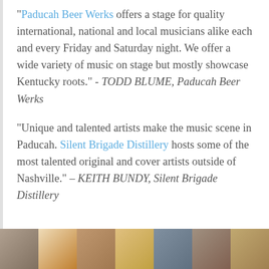“Paducah Beer Werks offers a stage for quality international, national and local musicians alike each and every Friday and Saturday night. We offer a wide variety of music on stage but mostly showcase Kentucky roots.” - TODD BLUME, Paducah Beer Werks
“Unique and talented artists make the music scene in Paducah. Silent Brigade Distillery hosts some of the most talented original and cover artists outside of Nashville.” – KEITH BUNDY, Silent Brigade Distillery
[Figure (photo): A horizontal photo strip at the bottom of the page showing multiple photos side by side, appearing to show people and instruments in warm tones.]